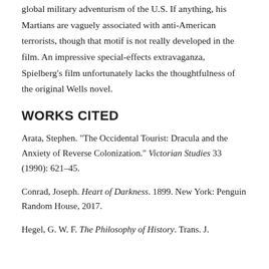global military adventurism of the U.S. If anything, his Martians are vaguely associated with anti-American terrorists, though that motif is not really developed in the film. An impressive special-effects extravaganza, Spielberg’s film unfortunately lacks the thoughtfulness of the original Wells novel.
WORKS CITED
Arata, Stephen. “The Occidental Tourist: Dracula and the Anxiety of Reverse Colonization.” Victorian Studies 33 (1990): 621–45.
Conrad, Joseph. Heart of Darkness. 1899. New York: Penguin Random House, 2017.
Hegel, G. W. F. The Philosophy of History. Trans. J.